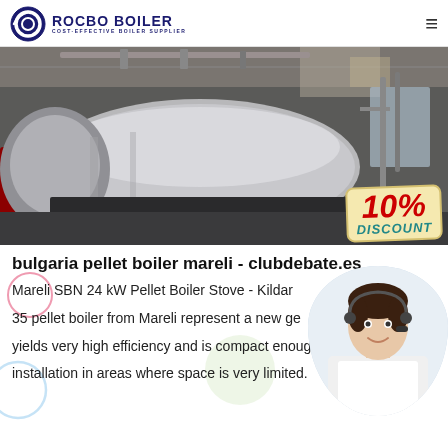ROCBO BOILER COST-EFFECTIVE BOILER SUPPLIER
[Figure (photo): Industrial boiler equipment in a factory setting, with a 10% DISCOUNT badge overlay in bottom right]
bulgaria pellet boiler mareli - clubdebate.es
Mareli SBN 24 kW Pellet Boiler Stove - Kildar 35 pellet boiler from Mareli represent a new ge yields very high efficiency and is compact enough installation in areas where space is very limited.